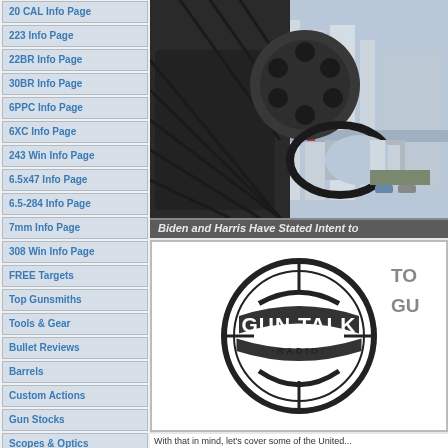20 CAL Info Page
223 Info Page
22BR Info Page
30BR Info Page
6PPC Info Page
6XC Info Page
243 Win Info Page
6.5x47 Info Page
6.5-284 Info Page
7mm Info Page
308 Win Info Page
FREE Targets
Top Gunsmiths
Tools & Gear
Bullet Reviews
Barrels
Custom Actions
Gun Stocks
Scopes & Optics
Vendor List
Reader POLLS
Event Calendar
[Figure (photo): Close-up of a dark revolver handgun with city buildings and flags in the background]
Biden and Harris Have Stated Intent to
[Figure (logo): Gun Talk Radio circular logo in black and grey]
With that in mind, let's cover some of the United...